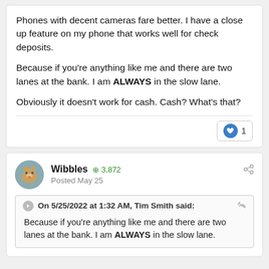Phones with decent cameras fare better. I have a close up feature on my phone that works well for check deposits.

Because if you're anything like me and there are two lanes at the bank. I am ALWAYS in the slow lane.

Obviously it doesn't work for cash. Cash? What's that?
Wibbles ⊕3,872
Posted May 25
On 5/25/2022 at 1:32 AM, Tim Smith said:

Because if you're anything like me and there are two lanes at the bank. I am ALWAYS in the slow lane.